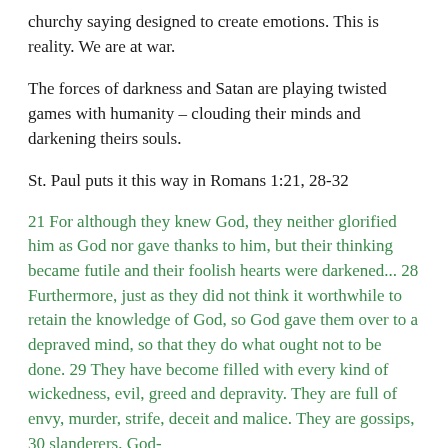churchy saying designed to create emotions. This is reality. We are at war.
The forces of darkness and Satan are playing twisted games with humanity – clouding their minds and darkening theirs souls.
St. Paul puts it this way in Romans 1:21, 28-32
21 For although they knew God, they neither glorified him as God nor gave thanks to him, but their thinking became futile and their foolish hearts were darkened... 28 Furthermore, just as they did not think it worthwhile to retain the knowledge of God, so God gave them over to a depraved mind, so that they do what ought not to be done. 29 They have become filled with every kind of wickedness, evil, greed and depravity. They are full of envy, murder, strife, deceit and malice. They are gossips, 30 slanderers, God-